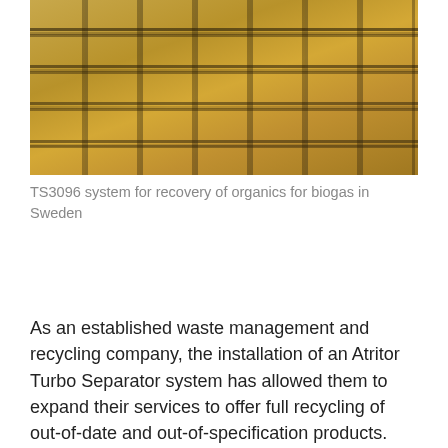[Figure (photo): Industrial grating/floor with metal grid lines in a yellowish-toned facility — TS3096 system for recovery of organics for biogas in Sweden]
TS3096 system for recovery of organics for biogas in Sweden
As an established waste management and recycling company, the installation of an Atritor Turbo Separator system has allowed them to expand their services to offer full recycling of out-of-date and out-of-specification products. This system is equiped for both wet and dry separation as required.
A waste company located in Sweden required a system to de-package kitchen food waste and packaged supermarket food waste. The recovered organic material will be used to generate gas via an